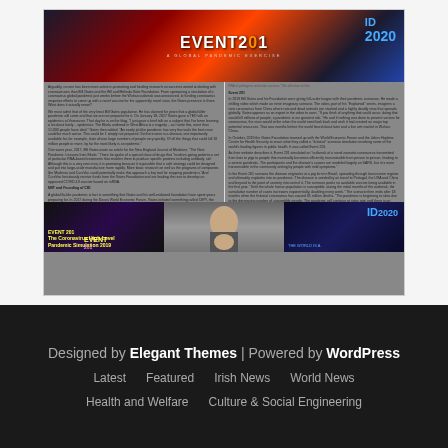[Figure (screenshot): Article page screenshot showing Event 201 and ID2020 content with header image, two-column text, and bottom image strip]
Designed by Elegant Themes | Powered by WordPress
Latest  Featured  Irish News  World News
Health and Welfare  Culture & Social Engineering